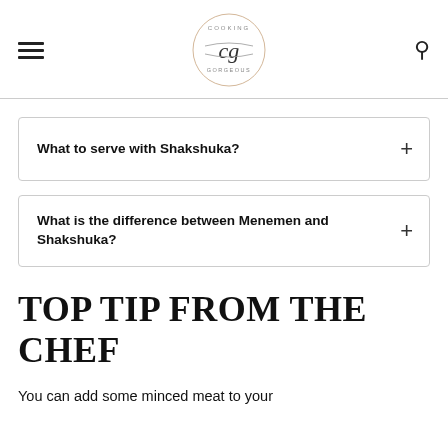Cooking Gorgeously — cg logo
What to serve with Shakshuka?
What is the difference between Menemen and Shakshuka?
TOP TIP FROM THE CHEF
You can add some minced meat to your